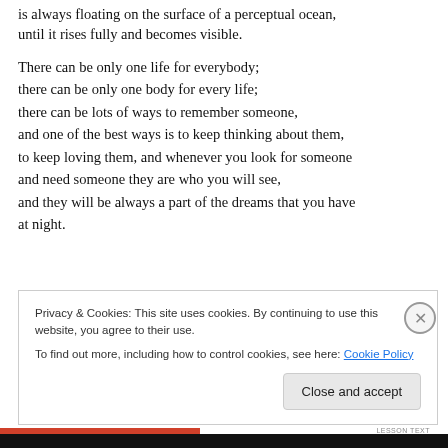is always floating on the surface of a perceptual ocean, until it rises fully and becomes visible.
There can be only one life for everybody; there can be only one body for every life; there can be lots of ways to remember someone, and one of the best ways is to keep thinking about them, to keep loving them, and whenever you look for someone and need someone they are who you will see, and they will be always a part of the dreams that you have at night.
Privacy & Cookies: This site uses cookies. By continuing to use this website, you agree to their use. To find out more, including how to control cookies, see here: Cookie Policy
Close and accept